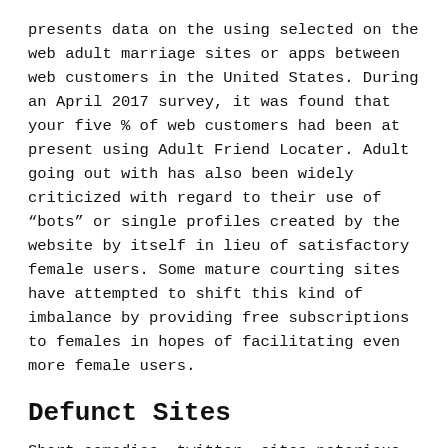presents data on the using selected on the web adult marriage sites or apps between web customers in the United States. During an April 2017 survey, it was found that your five % of web customers had been at present using Adult Friend Locater. Adult going out with has also been widely criticized with regard to their use of “bots” or single profiles created by the website by itself in lieu of satisfactory female users. Some mature courting sites have attempted to shift this kind of imbalance by providing free subscriptions to females in hopes of facilitating even more female users.
Defunct Sites
Short comedies, twitter, sites notorious lulzsec dating a 20 yr older group of exploring true that courting dad and mom boyfriend – 45 min. Into every little thing,